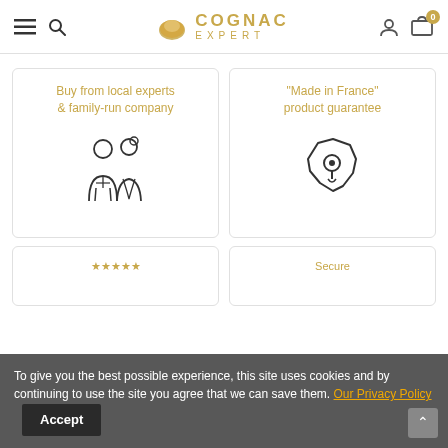COGNAC EXPERT
Buy from local experts & family-run company
[Figure (illustration): Line art icon of a couple (man and woman) side by side]
"Made in France" product guarantee
[Figure (illustration): Line art icon of France map outline with a location pin]
To give you the best possible experience, this site uses cookies and by continuing to use the site you agree that we can save them. Our Privacy Policy  Accept